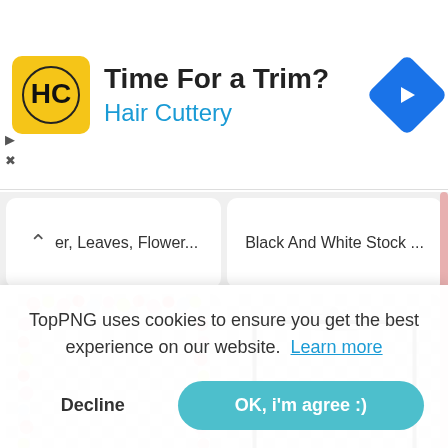[Figure (screenshot): Advertisement banner for Hair Cuttery with yellow logo, title 'Time For a Trim?', subtitle 'Hair Cuttery', and a blue diamond navigation arrow icon. Play and close controls on the left.]
er, Leaves, Flower...
Black And White Stock ...
[Figure (photo): Thumbnail of a floral frame made of colorful flowers and leaves arranged in a rectangular arch shape, on a transparent (checkered) background.]
[Figure (photo): Thumbnail of a black and white simple rectangular frame with a thin decorative floral element at the top, on a transparent (checkered) background.]
Vint
TopPNG uses cookies to ensure you get the best experience on our website.  Learn more
Decline
OK, i'm agree :)